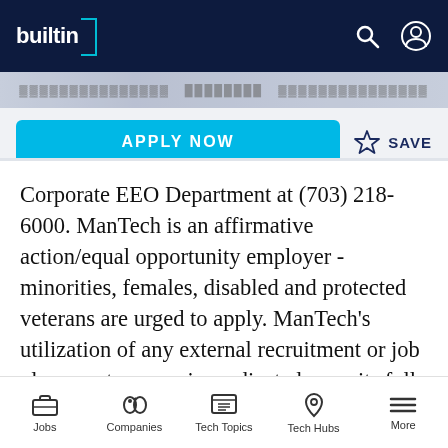builtin [logo]
Corporate EEO Department at (703) 218-6000. ManTech is an affirmative action/equal opportunity employer - minorities, females, disabled and protected veterans are urged to apply. ManTech's utilization of any external recruitment or job placement agency is predicated upon its full compliance with our equal opportunity/affirmative action policies. ManTech does not accept resumes from
Jobs | Companies | Tech Topics | Tech Hubs | More